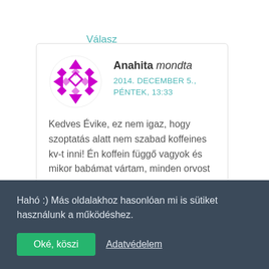Válasz
[Figure (illustration): Purple geometric avatar with diamond/triangle pattern]
Anahita mondta
2014. DECEMBER 5., PÉNTEK, 13:33
Kedves Évike, ez nem igaz, hogy szoptatás alatt nem szabad koffeines kv-t inni! Én koffein függő vagyok és mikor babámat vártam, minden orvost
Hahó :) Más oldalakhoz hasonlóan mi is sütiket használunk a működéshez.
Oké, köszi
Adatvédelem